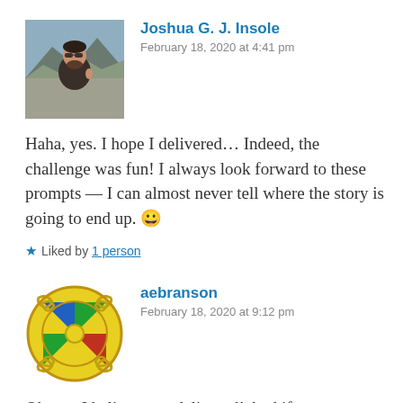[Figure (photo): Profile photo of Joshua G. J. Insole — a man with sunglasses outdoors on a mountain]
Joshua G. J. Insole
February 18, 2020 at 4:41 pm
Haha, yes. I hope I delivered… Indeed, the challenge was fun! I always look forward to these prompts — I can almost never tell where the story is going to end up. 😀
★ Liked by 1 person
[Figure (logo): Profile avatar of aebranson — a circular yellow symbol with colorful geometric pattern]
aebranson
February 18, 2020 at 9:12 pm
Oh yes, I believe you delivered! And if next